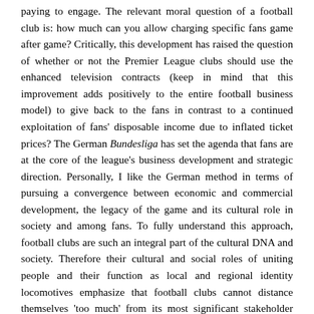paying to engage. The relevant moral question of a football club is: how much can you allow charging specific fans game after game? Critically, this development has raised the question of whether or not the Premier League clubs should use the enhanced television contracts (keep in mind that this improvement adds positively to the entire football business model) to give back to the fans in contrast to a continued exploitation of fans' disposable income due to inflated ticket prices? The German Bundesliga has set the agenda that fans are at the core of the league's business development and strategic direction. Personally, I like the German method in terms of pursuing a convergence between economic and commercial development, the legacy of the game and its cultural role in society and among fans. To fully understand this approach, football clubs are such an integral part of the cultural DNA and society. Therefore their cultural and social roles of uniting people and their function as local and regional identity locomotives emphasize that football clubs cannot distance themselves 'too much' from its most significant stakeholder group, i.e. fans. With that in mind, my advice to Liverpool FC is